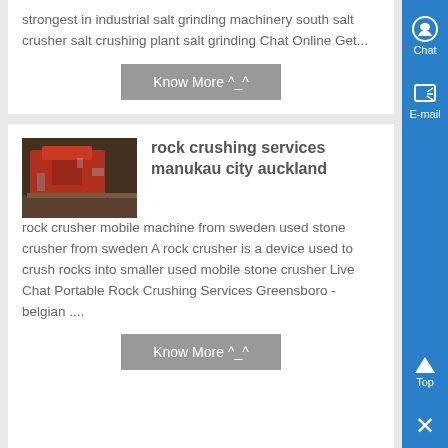strongest in industrial salt grinding machinery south salt crusher salt crushing plant salt grinding Chat Online Get...
Know More ^_^
rock crushing services manukau city auckland
[Figure (photo): Photo of rock crushing machinery, a red machine in a dimly lit industrial setting with rubble on the ground.]
rock crusher mobile machine from sweden used stone crusher from sweden A rock crusher is a device used to crush rocks into smaller used mobile stone crusher Live Chat Portable Rock Crushing Services Greensboro - belgian ....
Know More ^_^